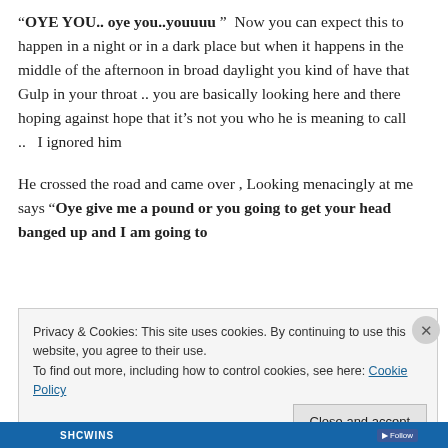“OYE YOU.. oye you..youuuu”  Now you can expect this to happen in a night or in a dark place but when it happens in the middle of the afternoon in broad daylight you kind of have that Gulp in your throat .. you are basically looking here and there hoping against hope that it’s not you who he is meaning to call ..   I ignored him
He crossed the road and came over , Looking menacingly at me says “Oye give me a pound or you going to get your head banged up and I am going to
Privacy & Cookies: This site uses cookies. By continuing to use this website, you agree to their use.
To find out more, including how to control cookies, see here: Cookie Policy
Close and accept